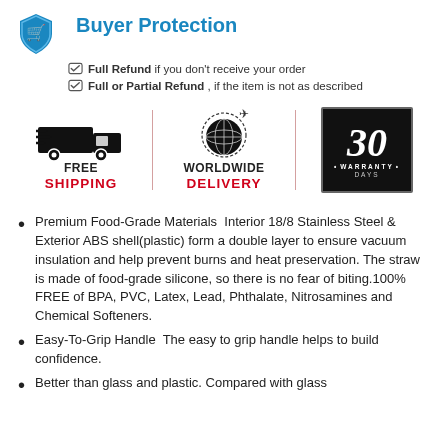Buyer Protection
✔ Full Refund if you don't receive your order
✔ Full or Partial Refund , if the item is not as described
[Figure (infographic): Three-column shipping infographic: Free Shipping (truck icon), Worldwide Delivery (globe icon), 30 Days Warranty (black box with '30 WARRANTY DAYS')]
Premium Food-Grade Materials  Interior 18/8 Stainless Steel & Exterior ABS shell(plastic) form a double layer to ensure vacuum insulation and help prevent burns and heat preservation. The straw is made of food-grade silicone, so there is no fear of biting.100% FREE of BPA, PVC, Latex, Lead, Phthalate, Nitrosamines and Chemical Softeners.
Easy-To-Grip Handle  The easy to grip handle helps to build confidence.
Better than glass and plastic. Compared with glass